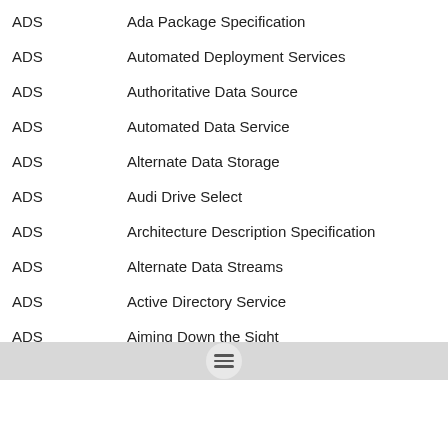ADS   Ada Package Specification
ADS   Automated Deployment Services
ADS   Authoritative Data Source
ADS   Automated Data Service
ADS   Alternate Data Storage
ADS   Audi Drive Select
ADS   Architecture Description Specification
ADS   Alternate Data Streams
ADS   Active Directory Service
ADS   Aiming Down the Sight
ADS   Active Directory Data Store
ADS   Adobe Document Server
ADS   Address Strobe
ADS   Air Discount Scheme (UK)
ADS   After Downing Street (political organization)
ADS   Automated Document(ation) System